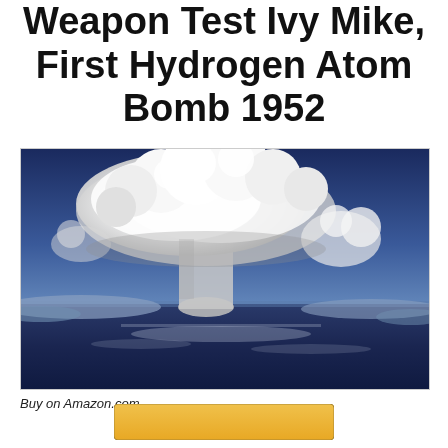Weapon Test Ivy Mike, First Hydrogen Atom Bomb 1952
[Figure (photo): Aerial photograph of the Ivy Mike hydrogen bomb test mushroom cloud rising above the ocean, 1952. Large white billowing cloud formation against a deep blue sky with dark water and clouds below.]
Buy on Amazon.com